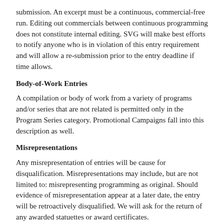submission. An excerpt must be a continuous, commercial-free run. Editing out commercials between continuous programming does not constitute internal editing. SVG will make best efforts to notify anyone who is in violation of this entry requirement and will allow a re-submission prior to the entry deadline if time allows.
Body-of-Work Entries
A compilation or body of work from a variety of programs and/or series that are not related is permitted only in the Program Series category. Promotional Campaigns fall into this description as well.
Misrepresentations
Any misrepresentation of entries will be cause for disqualification. Misrepresentations may include, but are not limited to: misrepresenting programming as original. Should evidence of misrepresentation appear at a later date, the entry will be retroactively disqualified. We will ask for the return of any awarded statuettes or award certificates.
Violations of any other published rules and procedures herein may result in disqualification. Reentrants submitted with disqualified